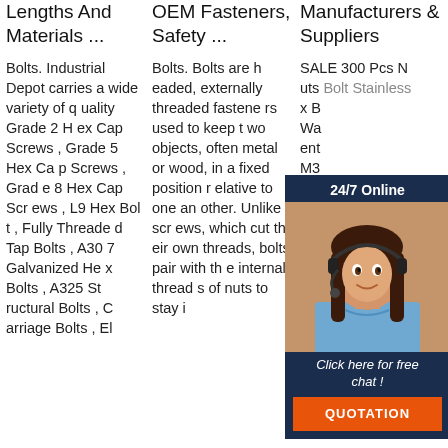Lengths And Materials ...
OEM Fasteners, Safety ...
Manufacturers & Suppliers
Bolts. Industrial Depot carries a wide variety of quality Grade 2 Hex Cap Screws , Grade 5 Hex Cap Screws , Grade 8 Hex Cap Screws , L9 Hex Bolt , Fully Threaded Tap Bolts , A307 Galvanized Hex Bolts , A325 Structural Bolts , Carriage Bolts , El
Bolts. Bolts are headed, externally threaded fasteners used to keep two objects, often metal or wood, in a fixed position relative to one another. Unlike screws, which cut their own threads, bolts pair with the internal threads of nuts to stay i
SALE 300 Pcs Nuts Bolt Stainless x Bolts Washers ent M3 Plastic k) P 9.00 uang 4.8 /5. Overseas. SALE Socket Cap Screws TOPs Socket Flat Head Bolt Nuts Assort
[Figure (illustration): Chat popup overlay showing a woman wearing a headset (customer support photo), with '24/7 Online' header, 'Click here for free chat!' text, and an orange QUOTATION button, on a dark navy background.]